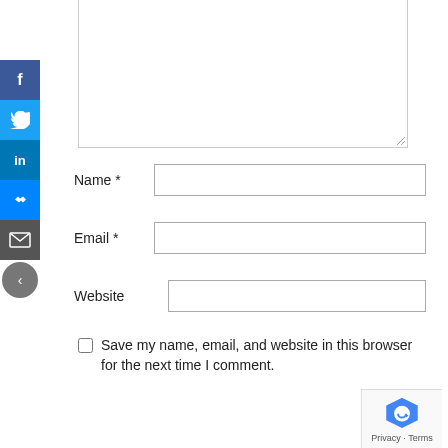[Figure (screenshot): Web form with social sharing sidebar (Facebook, Twitter, LinkedIn, Messenger, Email, Back buttons), comment textarea (cropped at top), Name field, Email field, Website field, Save my name checkbox, Post Comment button, and reCAPTCHA badge]
Name *
Email *
Website
Save my name, email, and website in this browser for the next time I comment.
Post Comment